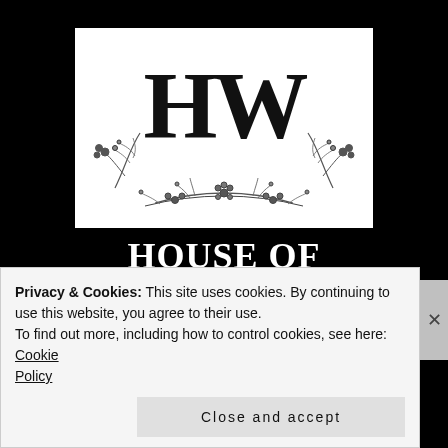[Figure (logo): House of Wildflowers logo: large 'HW' letters with botanical wildflower illustration beneath, black on white background]
HOUSE OF WILDFLOWERS
Lifestyle + Motherhood
Privacy & Cookies: This site uses cookies. By continuing to use this website, you agree to their use.
To find out more, including how to control cookies, see here: Cookie Policy
Close and accept